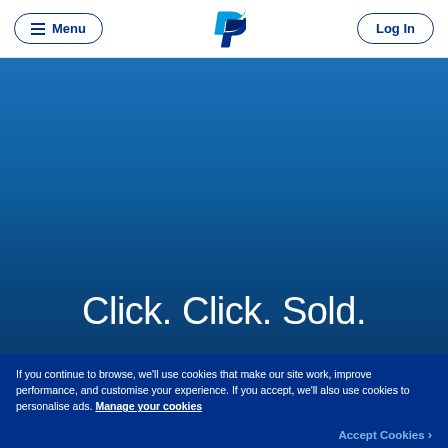Menu | PayPal | Log In
[Figure (screenshot): PayPal website hero section with blue gradient background]
Click. Click. Sold.
If you continue to browse, we'll use cookies that make our site work, improve performance, and customise your experience. If you accept, we'll also use cookies to personalise ads. Manage your cookies